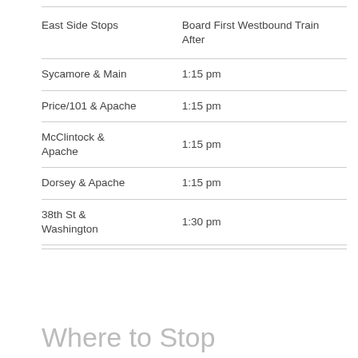| East Side Stops | Board First Westbound Train After |
| --- | --- |
| Sycamore & Main | 1:15 pm |
| Price/101 & Apache | 1:15 pm |
| McClintock & Apache | 1:15 pm |
| Dorsey & Apache | 1:15 pm |
| 38th St & Washington | 1:30 pm |
Where to Stop